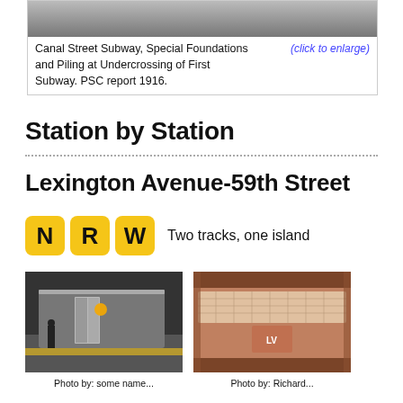[Figure (photo): Black and white historical photo of Canal Street Subway construction showing foundations and piling]
Canal Street Subway, Special Foundations and Piling at Undercrossing of First Subway. PSC report 1916.
Station by Station
Lexington Avenue-59th Street
N R W  Two tracks, one island
[Figure (photo): Photo of subway platform with train]
[Figure (photo): Photo of decorative station tiles]